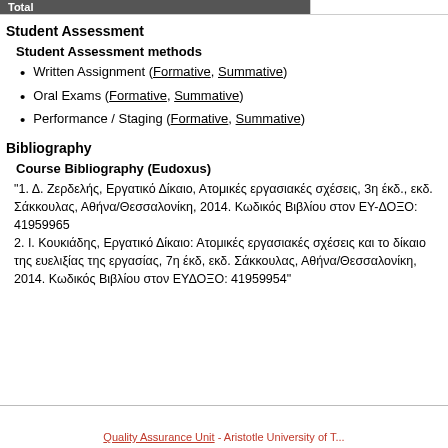Student Assessment
Student Assessment methods
Written Assignment (Formative, Summative)
Oral Exams (Formative, Summative)
Performance / Staging (Formative, Summative)
Bibliography
Course Bibliography (Eudoxus)
"1. Δ. Ζερδελής, Εργατικό Δίκαιο, Ατομικές εργασιακές σχέσεις, 3η έκδ., εκδ. Σάκκουλας, Αθήνα/Θεσσαλονίκη, 2014. Κωδικός Βιβλίου στον ΕΥΔΟΞΟ: 41959965
2. Ι. Κουκιάδης, Εργατικό Δίκαιο: Ατομικές εργασιακές σχέσεις και το δίκαιο της ευελιξίας της εργασίας, 7η έκδ, εκδ. Σάκκουλας, Αθήνα/Θεσσαλονίκη, 2014. Κωδικός Βιβλίου στον ΕΥΔΟΞΟ: 41959954"
Quality Assurance Unit - Aristotle University of Th...